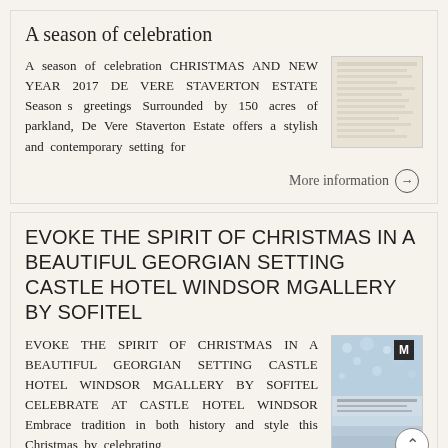A season of celebration
A season of celebration CHRISTMAS AND NEW YEAR 2017 DE VERE STAVERTON ESTATE Season s greetings Surrounded by 150 acres of parkland, De Vere Staverton Estate offers a stylish and contemporary setting for
[Figure (photo): Thumbnail image of a patterned/textured document, light beige tones]
More information →
EVOKE THE SPIRIT OF CHRISTMAS IN A BEAUTIFUL GEORGIAN SETTING CASTLE HOTEL WINDSOR MGALLERY BY SOFITEL
EVOKE THE SPIRIT OF CHRISTMAS IN A BEAUTIFUL GEORGIAN SETTING CASTLE HOTEL WINDSOR MGALLERY BY SOFITEL CELEBRATE AT CASTLE HOTEL WINDSOR Embrace tradition in both history and style this Christmas by celebrating
[Figure (photo): Thumbnail image of Castle Hotel Windsor MGallery by Sofitel Christmas brochure cover, blue/silver tones with snowflake pattern]